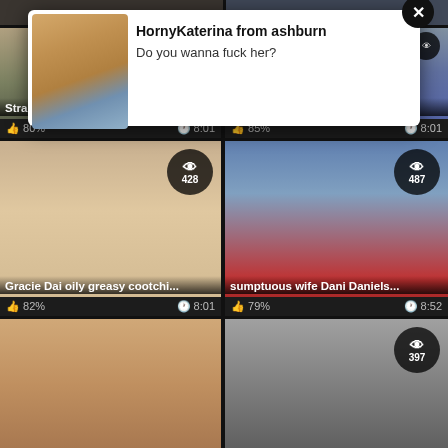[Figure (screenshot): Popup notification overlay showing a woman in a bikini with text 'HornyKaterina from ashburn / Do you wanna fuck her?' with close button]
HornyKaterina from ashburn
Do you wanna fuck her?
[Figure (screenshot): Video thumbnail: Stranded hotty Gia Paige pic... | 80% | 8:01]
[Figure (screenshot): Video thumbnail: Fit honey Karmen Bella deept... | 85% | 8:01]
[Figure (screenshot): Video thumbnail: Gracie Dai oily greasy cootchi... | 82% | 8:01 | 428 views]
[Figure (screenshot): Video thumbnail: sumptuous wife Dani Daniels... | 79% | 8:52 | 487 views]
[Figure (screenshot): Video thumbnail: bottom left partial thumbnail]
[Figure (screenshot): Video thumbnail: bottom right partial thumbnail with 397 views badge]